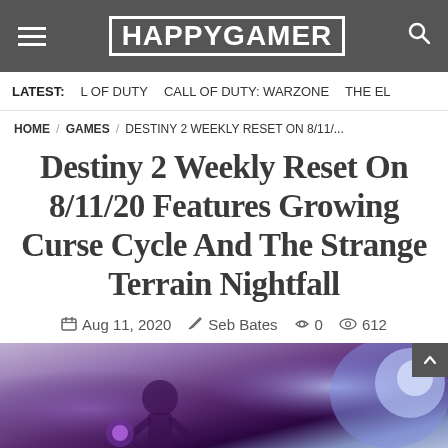HAPPYGAMER
LATEST: L OF DUTY   CALL OF DUTY: WARZONE   THE EL...
HOME / GAMES / DESTINY 2 WEEKLY RESET ON 8/11/...
Destiny 2 Weekly Reset On 8/11/20 Features Growing Curse Cycle And The Strange Terrain Nightfall
Aug 11, 2020   Seb Bates   0   612
[Figure (photo): Screenshot from Destiny 2 game showing a purple-toned armored figure with glowing light effects]